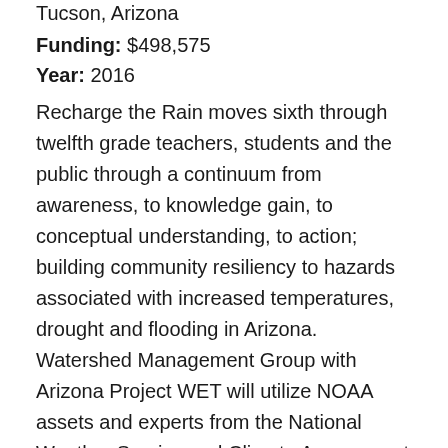Tucson, Arizona
Funding: $498,575
Year: 2016
Recharge the Rain moves sixth through twelfth grade teachers, students and the public through a continuum from awareness, to knowledge gain, to conceptual understanding, to action; building community resiliency to hazards associated with increased temperatures, drought and flooding in Arizona. Watershed Management Group with Arizona Project WET will utilize NOAA assets and experts from the National Weather Service and Climate Assessment for